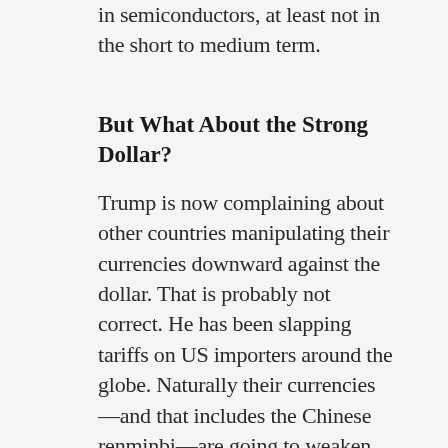in semiconductors, at least not in the short to medium term.
But What About the Strong Dollar?
Trump is now complaining about other countries manipulating their currencies downward against the dollar. That is probably not correct. He has been slapping tariffs on US importers around the globe. Naturally their currencies—and that includes the Chinese renminbi—are going to weaken. Yes this weakening will in part offset the tariffs. That's a natural